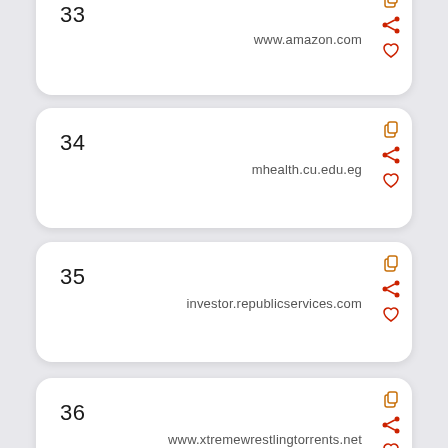33 www.amazon.com
34 mhealth.cu.edu.eg
35 investor.republicservices.com
36 www.xtremewrestlingtorrents.net